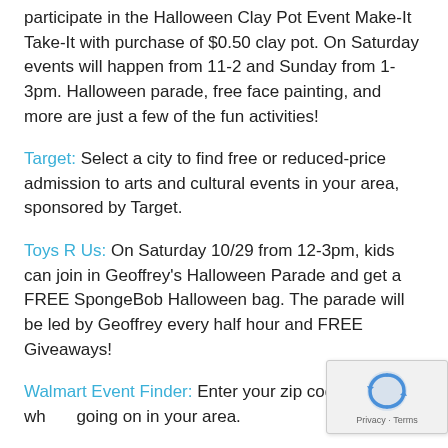participate in the Halloween Clay Pot Event Make-It Take-It with purchase of $0.50 clay pot. On Saturday events will happen from 11-2 and Sunday from 1-3pm. Halloween parade, free face painting, and more are just a few of the fun activities!
Target: Select a city to find free or reduced-price admission to arts and cultural events in your area, sponsored by Target.
Toys R Us: On Saturday 10/29 from 12-3pm, kids can join in Geoffrey's Halloween Parade and get a FREE SpongeBob Halloween bag. The parade will be led by Geoffrey every half hour and FREE Giveaways!
Walmart Event Finder: Enter your zip code to see what's going on in your area.